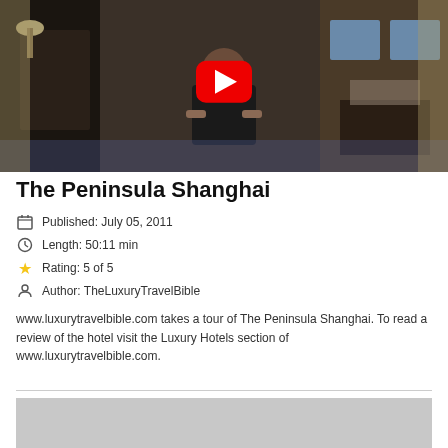[Figure (photo): Video thumbnail showing a woman sitting in a hotel room with a red YouTube play button overlay]
The Peninsula Shanghai
Published: July 05, 2011
Length: 50:11 min
Rating: 5 of 5
Author: TheLuxuryTravelBible
www.luxurytravelbible.com takes a tour of The Peninsula Shanghai. To read a review of the hotel visit the Luxury Hotels section of www.luxurytravelbible.com.
[Figure (photo): Partially visible hotel room photo at the bottom of the page]